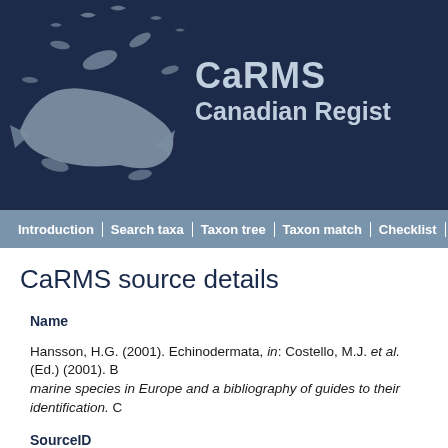[Figure (logo): CaRMS Canadian Register header banner with dark navy background, marine creature silhouette on left, and CaRMS / Canadian Regist text on right]
Introduction | Search taxa | Taxon tree | Taxon match | Checklist | L
CaRMS source details
Name
Hansson, H.G. (2001). Echinodermata, in: Costello, M.J. et al. (Ed.) (2001). B marine species in Europe and a bibliography of guides to their identification. C
SourceID
1368
Authors
Hansson, H.G.